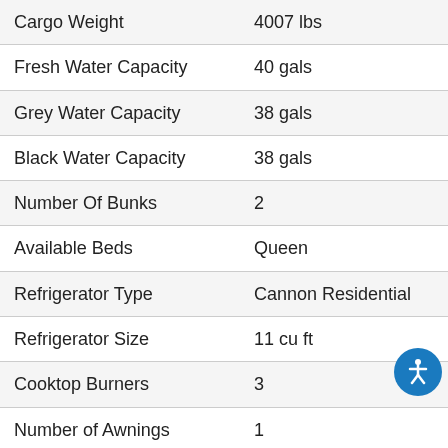| Specification | Value |
| --- | --- |
| Cargo Weight | 4007 lbs |
| Fresh Water Capacity | 40 gals |
| Grey Water Capacity | 38 gals |
| Black Water Capacity | 38 gals |
| Number Of Bunks | 2 |
| Available Beds | Queen |
| Refrigerator Type | Cannon Residential |
| Refrigerator Size | 11 cu ft |
| Cooktop Burners | 3 |
| Number of Awnings | 1 |
| Water Heater Capacity | 6 gal |
| Water Heater Type | Gas/Electric DSI |
| AC BTU | 15000 btu |